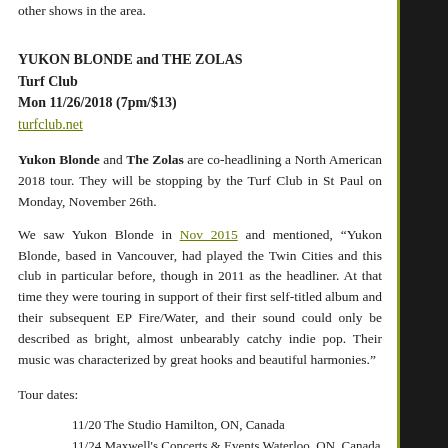other shows in the area.
YUKON BLONDE and THE ZOLAS
Turf Club
Mon 11/26/2018 (7pm/$13)
turfclub.net
Yukon Blonde and The Zolas are co-headlining a North American 2018 tour. They will be stopping by the Turf Club in St Paul on Monday, November 26th.
We saw Yukon Blonde in Nov 2015 and mentioned, “Yukon Blonde, based in Vancouver, had played the Twin Cities and this club in particular before, though in 2011 as the headliner. At that time they were touring in support of their first self-titled album and their subsequent EP Fire/Water, and their sound could only be described as bright, almost unbearably catchy indie pop. Their music was characterized by great hooks and beautiful harmonies.”
Tour dates:
11/20 The Studio Hamilton, ON, Canada
11/24 Maxwell's Concerts & Events Waterloo, ON, Canada
11/25 Lincoln Hall + Schubas Chicago, IL
11/26 Turf Club Saint Paul, MN
11/27 The Garrick Garrick Centre
11/29 Palace Theatre
12/02 Bo's Bar and Grill Red Deer, AB, Canada
12/05 Capital Ballroom Victoria, BC, Canada